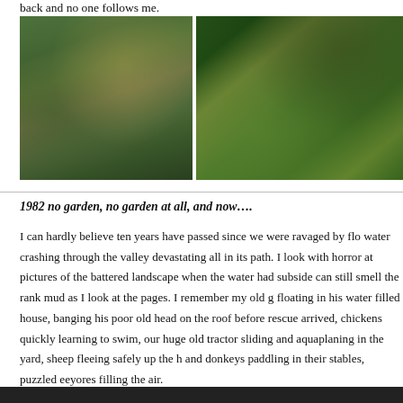back and no one follows me.
[Figure (photo): Two garden photographs side by side. Left: a green overgrown garden area with trees, stone structures and a dark triangular object in foreground. Right: a well-kept garden path with neatly trimmed hedges and large dark leafy trees.]
1982 no garden, no garden at all, and now....
I can hardly believe ten years have passed since we were ravaged by flo water crashing through the valley devastating all in its path. I look with horror at pictures of the battered landscape when the water had subside can still smell the rank mud as I look at the pages. I remember my old g floating in his water filled house, banging his poor old head on the roof before rescue arrived, chickens quickly learning to swim, our huge old tractor sliding and aquaplaning in the yard, sheep fleeing safely up the h and donkeys paddling in their stables, puzzled eeyores filling the air.
[Figure (photo): Partial view of a dark photograph at the bottom of the page, content unclear.]